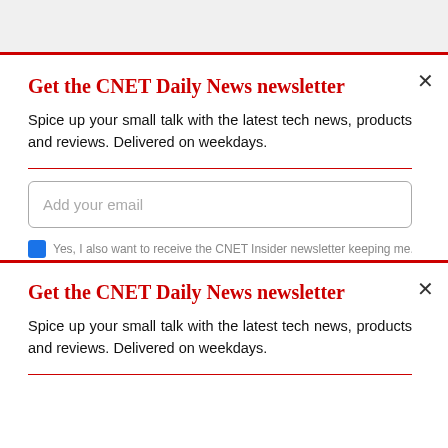Get the CNET Daily News newsletter
Spice up your small talk with the latest tech news, products and reviews. Delivered on weekdays.
Get the CNET Daily News newsletter
Spice up your small talk with the latest tech news, products and reviews. Delivered on weekdays.